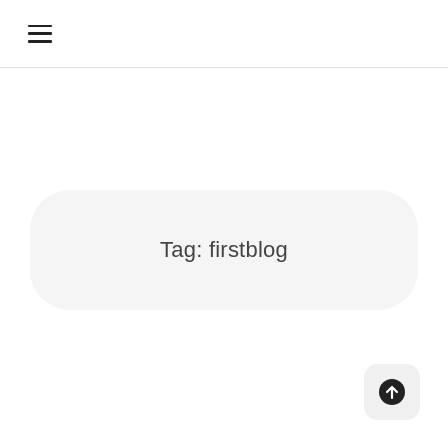☰
Tag: firstblog
[Figure (other): Scroll to top button with upward arrow icon]